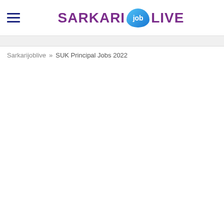SARKARI job LIVE
Sarkarijoblive » SUK Principal Jobs 2022